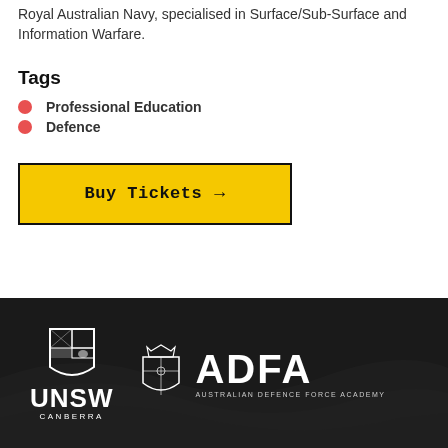Royal Australian Navy, specialised in Surface/Sub-Surface and Information Warfare.
Tags
Professional Education
Defence
Buy Tickets →
[Figure (logo): UNSW Canberra and ADFA (Australian Defence Force Academy) logos on dark background with wave pattern]